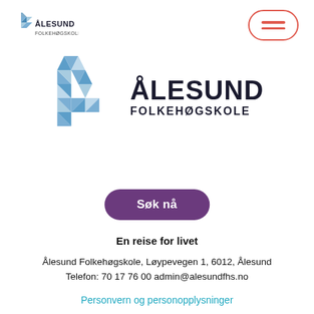[Figure (logo): Ålesund Folkehøgskole small logo top-left with stylized F mark and text]
[Figure (other): Hamburger menu button top-right, red/coral rounded rectangle with two horizontal lines]
[Figure (logo): Ålesund Folkehøgskole large centered logo with geometric F mark and bold text ÅLESUND FOLKEHØGSKOLE]
[Figure (other): Søk nå button - purple/mauve rounded rectangle with white bold text]
En reise for livet
Ålesund Folkehøgskole, Løypevegen 1, 6012, Ålesund
Telefon: 70 17 76 00 admin@alesundfhs.no
Personvern og personopplysninger